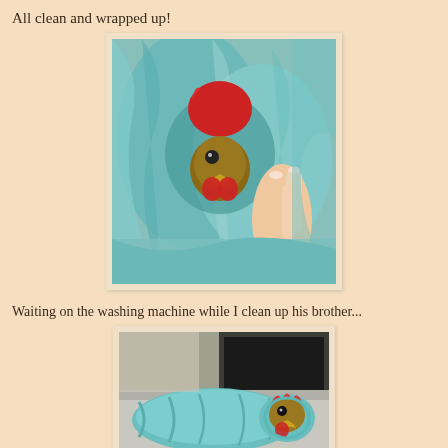All clean and wrapped up!
[Figure (photo): A chicken or rooster wrapped snugly in a teal/turquoise terry cloth towel, with its red comb visible and a human hand holding it.]
Waiting on the washing machine while I clean up his brother...
[Figure (photo): A chicken wrapped tightly in a teal/turquoise towel like a burrito, lying on a surface near a washing machine, with its head and red comb peeking out from one end.]